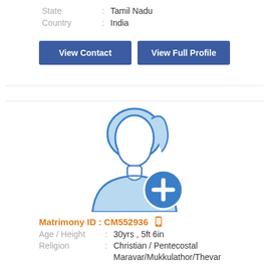State : Tamil Nadu
Country : India
View Contact
View Full Profile
[Figure (illustration): Male silhouette avatar icon in light blue with a circular blue plus/add button overlay at bottom right]
Matrimony ID : CM552936
Age / Height : 30yrs , 5ft 6in
Religion : Christian / Pentecostal
Maravar/Mukkulathor/Thevar